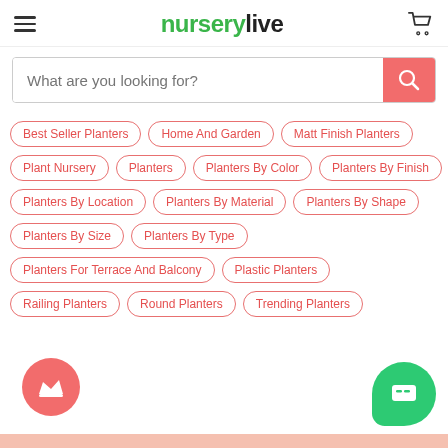nurserylive
What are you looking for?
Best Seller Planters
Home And Garden
Matt Finish Planters
Plant Nursery
Planters
Planters By Color
Planters By Finish
Planters By Location
Planters By Material
Planters By Shape
Planters By Size
Planters By Type
Planters For Terrace And Balcony
Plastic Planters
Railing Planters
Round Planters
Trending Planters